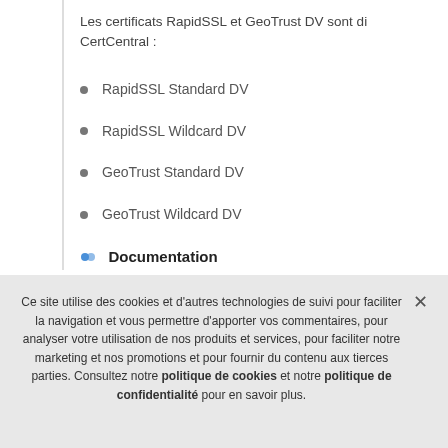Les certificats RapidSSL et GeoTrust DV sont di... CertCentral :
RapidSSL Standard DV
RapidSSL Wildcard DV
GeoTrust Standard DV
GeoTrust Wildcard DV
Documentation
Ce site utilise des cookies et d'autres technologies de suivi pour faciliter la navigation et vous permettre d'apporter vos commentaires, pour analyser votre utilisation de nos produits et services, pour faciliter notre marketing et nos promotions et pour fournir du contenu aux tierces parties. Consultez notre politique de cookies et notre politique de confidentialité pour en savoir plus.